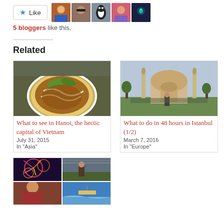[Figure (other): Like button with star icon and 5 blogger avatars]
5 bloggers like this.
Related
[Figure (photo): Bowl of Vietnamese pho soup with noodles and herbs]
What to see in Hanoi, the hectic capital of Vietnam
July 31, 2015
In "Asia"
[Figure (photo): Woman standing in front of Hagia Sophia mosque in Istanbul]
What to do in 48 hours in Istanbul (1/2)
March 7, 2016
In "Europe"
[Figure (photo): Collage of four travel photos including fireworks and outdoor scenes]